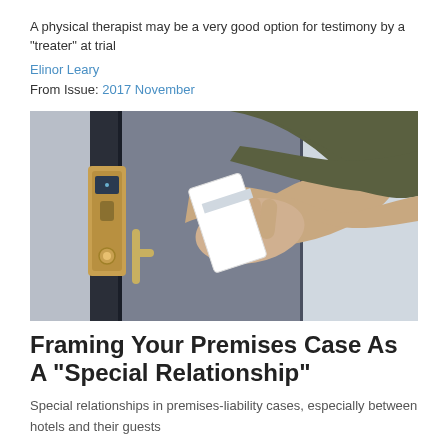A physical therapist may be a very good option for testimony by a "treater" at trial
Elinor Leary
From Issue: 2017 November
[Figure (photo): A hand holding a hotel key card up to an electronic door lock on a gray door, with a gold/brass door handle visible]
Framing Your Premises Case As A “Special Relationship”
Special relationships in premises-liability cases, especially between hotels and their guests